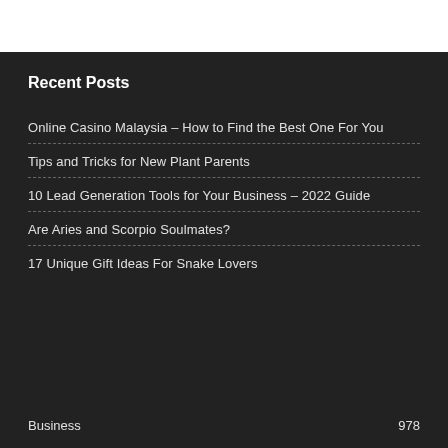Recent Posts
Online Casino Malaysia – How to Find the Best One For You
Tips and Tricks for New Plant Parents
10 Lead Generation Tools for Your Business – 2022 Guide
Are Aries and Scorpio Soulmates?
17 Unique Gift Ideas For Snake Lovers
Business    978